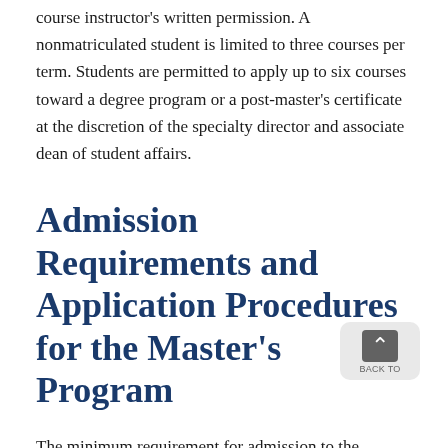course instructor's written permission. A nonmatriculated student is limited to three courses per term. Students are permitted to apply up to six courses toward a degree program or a post-master's certificate at the discretion of the specialty director and associate dean of student affairs.
Admission Requirements and Application Procedures for the Master's Program
The minimum requirement for admission to the Graduate Entry Prespecialty in Nursing (GEPN) is a baccalaureate degree from an accredited college or university. No specific major is required, but collegiate courses in